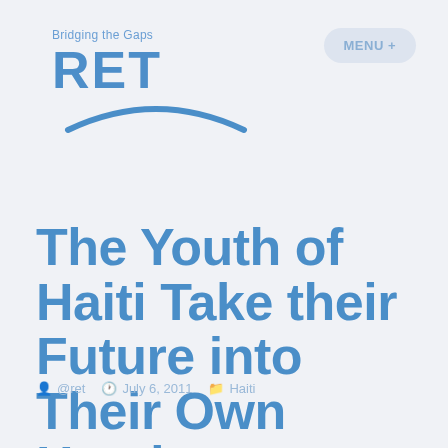Bridging the Gaps RET
MENU +
The Youth of Haiti Take their Future into Their Own Hands
@ret  July 6, 2011  Haiti